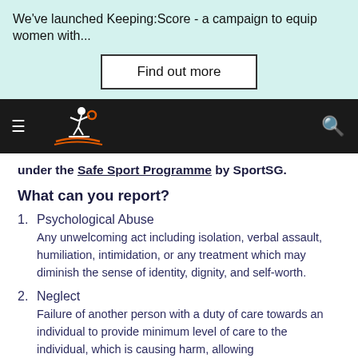We've launched Keeping:Score - a campaign to equip women with...
Find out more
[Figure (logo): SportSG logo on dark navigation bar with hamburger menu and search icon]
under the Safe Sport Programme by SportSG.
What can you report?
1. Psychological Abuse
Any unwelcoming act including isolation, verbal assault, humiliation, intimidation, or any treatment which may diminish the sense of identity, dignity, and self-worth.
2. Neglect
Failure of another person with a duty of care towards an individual to provide minimum level of care to the individual, which is causing harm, allowing...